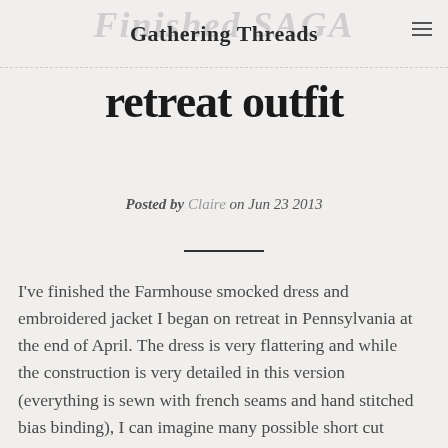Gathering Threads
retreat outfit
Posted by Claire on Jun 23 2013
I've finished the Farmhouse smocked dress and embroidered jacket I began on retreat in Pennsylvania at the end of April. The dress is very flattering and while the construction is very detailed in this version (everything is sewn with french seams and hand stitched bias binding), I can imagine many possible short cut variations for [...]